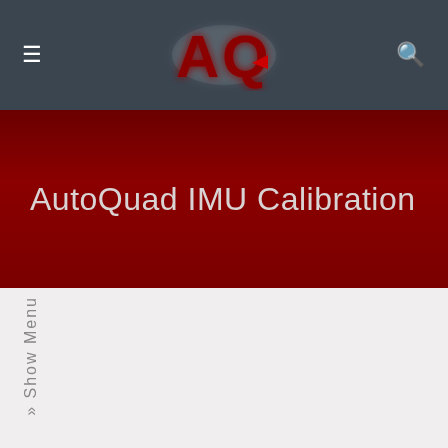AutoQuad navigation header with hamburger menu, AQ logo, and search icon
AutoQuad IMU Calibration
» Show Menu